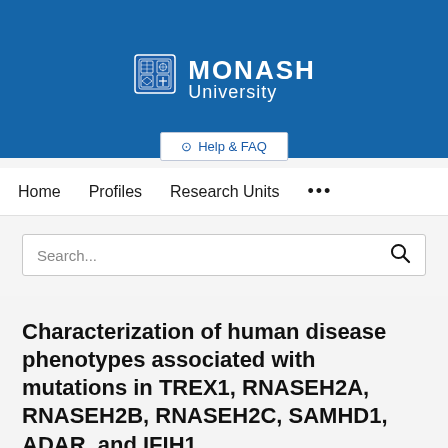[Figure (logo): Monash University logo with crest/shield and text 'MONASH University' in white on blue background]
Help & FAQ
Home   Profiles   Research Units   ...
Search...
Characterization of human disease phenotypes associated with mutations in TREX1, RNASEH2A, RNASEH2B, RNASEH2C, SAMHD1, ADAR, and IFIH1